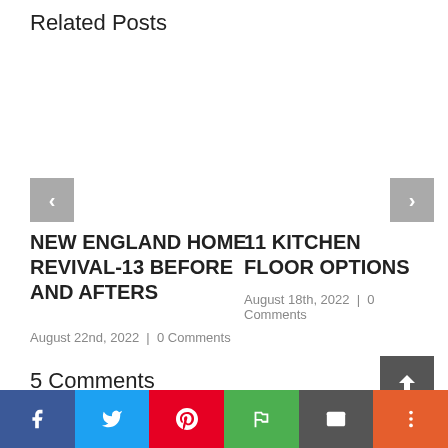Related Posts
NEW ENGLAND HOME REVIVAL-13 BEFORE AND AFTERS
August 22nd, 2022 | 0 Comments
11 KITCHEN FLOOR OPTIONS
August 18th, 2022 | 0 Comments
5 Comments